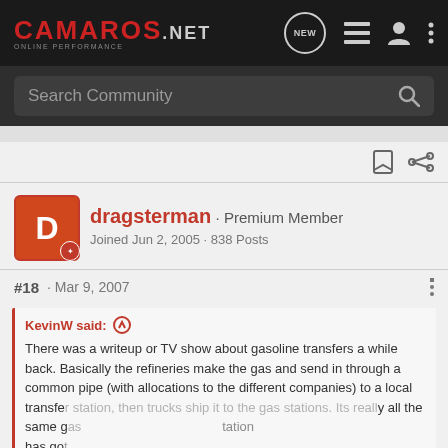CAMAROS.net ONLINE PERFORMANCE
Search Community
dragsterman · Premium Member
Joined Jun 2, 2005 · 838 Posts
#18 · Mar 9, 2007
KevinW said: ↑
There was a writeup or TV show about gasoline transfers a while back. Basically the refineries make the gas and send in through a common pipe (with allocations to the different companies) to a local transfer station, then trucks ship it to the gas stations. Its really all the same gas station has go